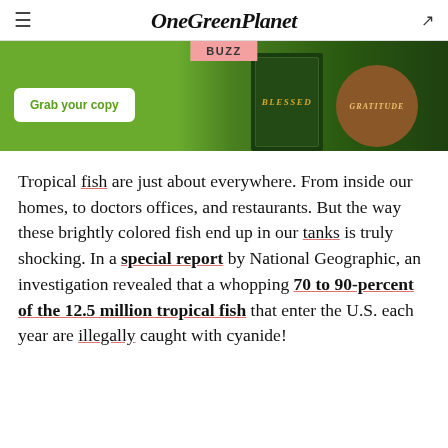OneGreenPlanet
[Figure (screenshot): OneGreenPlanet website banner advertisement with green background showing 'Grab your copy' button and two book covers (Blessed and Gratitude), with BUZZ tag overlay]
Tropical fish are just about everywhere. From inside our homes, to doctors offices, and restaurants. But the way these brightly colored fish end up in our tanks is truly shocking. In a special report by National Geographic, an investigation revealed that a whopping 70 to 90-percent of the 12.5 million tropical fish that enter the U.S. each year are illegally caught with cyanide!